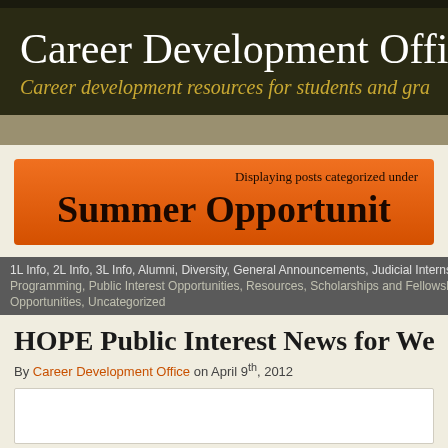Career Development Offi
Career development resources for students and gra
Displaying posts categorized under
Summer Opportunit
1L Info, 2L Info, 3L Info, Alumni, Diversity, General Announcements, Judicial Internships, Programming, Public Interest Opportunities, Resources, Scholarships and Fellowships, Opportunities, Uncategorized
HOPE Public Interest News for Week of Ap
By Career Development Office on April 9th, 2012